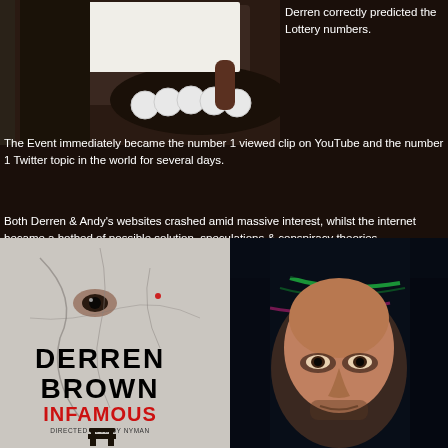[Figure (photo): Person holding up a board/sign with lottery balls visible in front, dark stone background]
Derren correctly predicted the Lottery numbers.
The Event immediately became the number 1 viewed clip on YouTube and the number 1 Twitter topic in the world for several days.
Both Derren & Andy's websites crashed amid massive interest, whilst the internet became a hotbed of possible solution, speculations & conspiracy theories.
The Live prediction also made headline news in the UK, Australia, A...
Unfortunately Channel 4 had banned both Derren & Andy from buying a ticket & profiting from the prediction.
[Figure (photo): Derren Brown Infamous show poster - black and white cracked face image with text DERREN BROWN INFAMOUS DIRECTED BY ANDY NYMAN, black chair silhouette]
[Figure (photo): Close-up portrait of a man's face in dark dramatic lighting with green/pink light streaks in background]